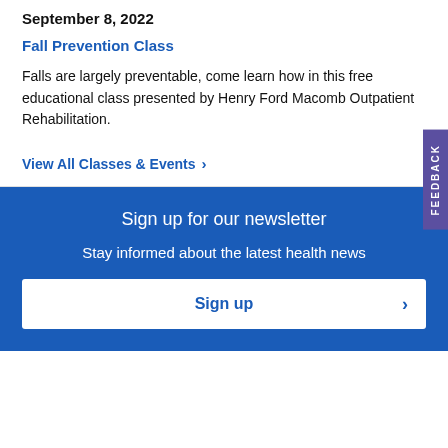September 8, 2022
Fall Prevention Class
Falls are largely preventable, come learn how in this free educational class presented by Henry Ford Macomb Outpatient Rehabilitation.
View All Classes & Events ›
Sign up for our newsletter
Stay informed about the latest health news
Sign up ›